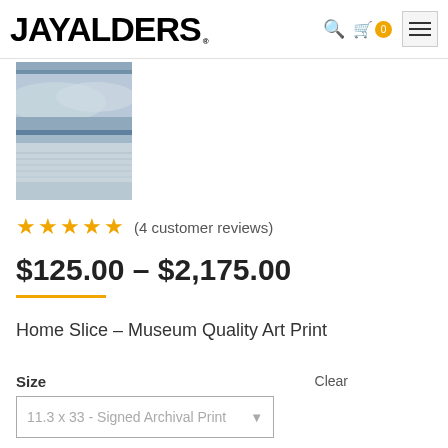JAYALDERS
[Figure (photo): Thumbnail image of a winter/snowy landscape art print, split into two horizontal sections]
(4 customer reviews)
$125.00 – $2,175.00
Home Slice – Museum Quality Art Print
Size
Clear
11.3 x 33 - Signed Archival Print
Embellishment